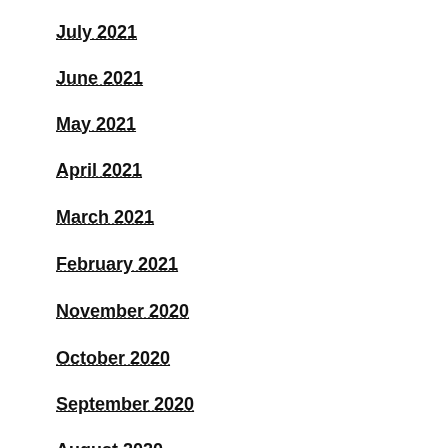July 2021
June 2021
May 2021
April 2021
March 2021
February 2021
November 2020
October 2020
September 2020
August 2020